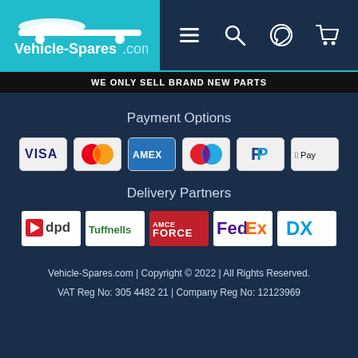Vehicle-Spares.com navigation header with logo and icons
WE ONLY SELL BRAND NEW PARTS
Payment Options
[Figure (logo): Payment method logos: VISA, Mastercard, AMEX, Maestro, PayPal, Apple Pay]
Delivery Partners
[Figure (logo): Delivery partner logos: DPD, Tuffnells, APC Overnight / FORCE, FedEx, DX]
Vehicle-Spares.com | Copyright © 2022 | All Rights Reserved.
VAT Reg No: 305 4482 21 | Company Reg No: 12123969